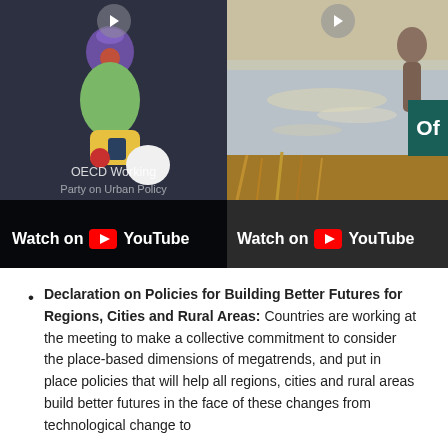[Figure (screenshot): Two YouTube video thumbnails side by side. Left thumbnail shows an OECD Working Party on Urban Policy animated illustration with cartoon figures on dark background and 'Watch on YouTube' bar at bottom. Right thumbnail shows an outdoor photo of a person by water/coast with golden grass, a teal 'Of' text box overlay, and 'Watch on YouTube' bar at bottom.]
Declaration on Policies for Building Better Futures for Regions, Cities and Rural Areas: Countries are working at the meeting to make a collective commitment to consider the place-based dimensions of megatrends, and put in place policies that will help all regions, cities and rural areas build better futures in the face of these changes from technological change to
Share